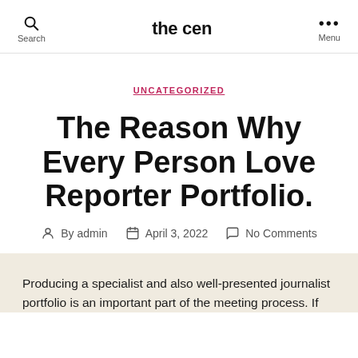the cen
UNCATEGORIZED
The Reason Why Every Person Love Reporter Portfolio.
By admin  April 3, 2022  No Comments
Producing a specialist and also well-presented journalist portfolio is an important part of the meeting process. If